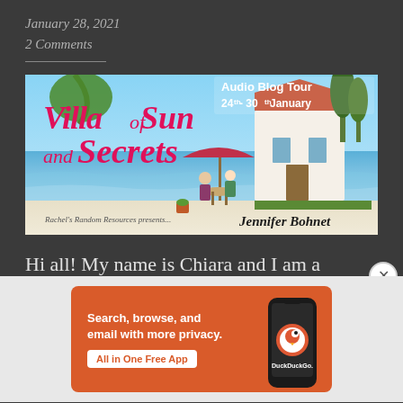January 28, 2021
2 Comments
[Figure (illustration): Banner for 'Villa of Sun and Secrets' Audio Blog Tour 24th-30th January by Jennifer Bohnet. Shows two women sitting at a table by the sea with a villa in the background. Text by Rachel's Random Resources.]
Hi all! My name is Chiara and I am a
[Figure (advertisement): DuckDuckGo ad: Search, browse, and email with more privacy. All in One Free App. Shows DuckDuckGo logo on a phone.]